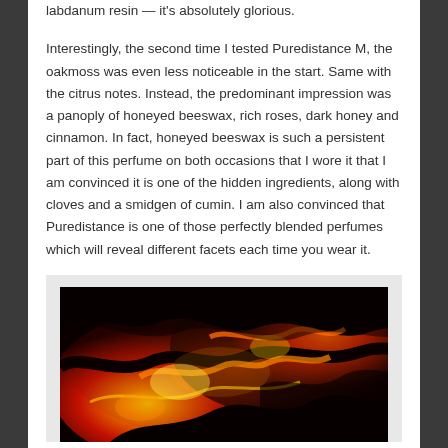labdanum resin — it's absolutely glorious.
Interestingly, the second time I tested Puredistance M, the oakmoss was even less noticeable in the start. Same with the citrus notes. Instead, the predominant impression was a panoply of honeyed beeswax, rich roses, dark honey and cinnamon. In fact, honeyed beeswax is such a persistent part of this perfume on both occasions that I wore it that I am convinced it is one of the hidden ingredients, along with cloves and a smidgen of cumin. I am also convinced that Puredistance is one of those perfectly blended perfumes which will reveal different facets each time you wear it.
[Figure (photo): Close-up photograph of dark lava or resin with swirling patterns of black, red, orange and yellow colors.]